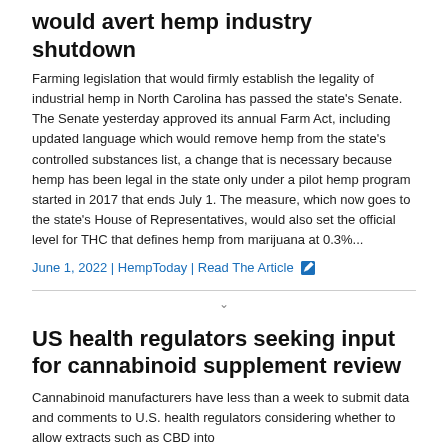would avert hemp industry shutdown
Farming legislation that would firmly establish the legality of industrial hemp in North Carolina has passed the state's Senate. The Senate yesterday approved its annual Farm Act, including updated language which would remove hemp from the state's controlled substances list, a change that is necessary because hemp has been legal in the state only under a pilot hemp program started in 2017 that ends July 1. The measure, which now goes to the state's House of Representatives, would also set the official level for THC that defines hemp from marijuana at 0.3%...
June 1, 2022 | HempToday | Read The Article
US health regulators seeking input for cannabinoid supplement review
Cannabinoid manufacturers have less than a week to submit data and comments to U.S. health regulators considering whether to allow extracts such as CBD into